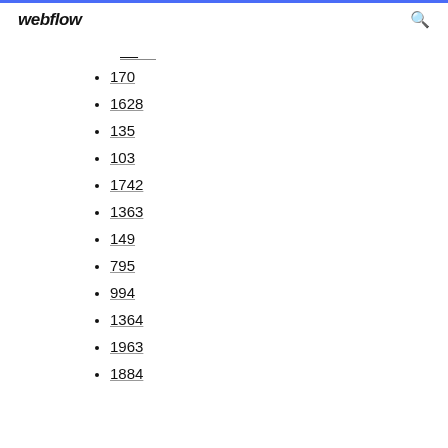webflow
170
1628
135
103
1742
1363
149
795
994
1364
1963
1884